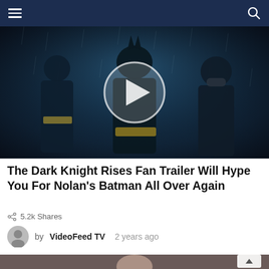Navigation bar with hamburger menu and search icon
[Figure (screenshot): Video thumbnail showing three characters from The Dark Knight Rises (Catwoman, Batman, Bane) standing in rain with a white play button overlay in the center]
The Dark Knight Rises Fan Trailer Will Hype You For Nolan's Batman All Over Again
5.2k Shares
by VideoFeed TV  2 years ago
[Figure (screenshot): Partial bottom thumbnail showing a woman's face, partially visible, with a back-to-top arrow button on the right]